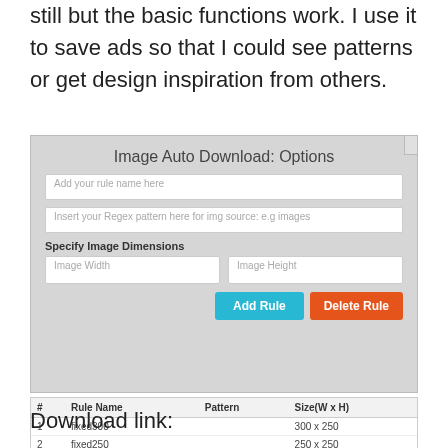still but the basic functions work. I use it to save ads so that I could see patterns or get design inspiration from others.
[Figure (screenshot): Image Auto Download: Options dialog showing input fields for rule name, regex pattern, image dimensions (width and height), and Add Rule / Delete Rule buttons.]
| # | Rule Name | Pattern | Size(W x H) |
| --- | --- | --- | --- |
| 1 | fixed300 |  | 300 x 250 |
| 2 | fixed250 |  | 250 x 250 |
| 3 | fixed:336280 |  | 336 x 280 |
| 4 | fixed728 |  | 728 x 90 |
Download link: